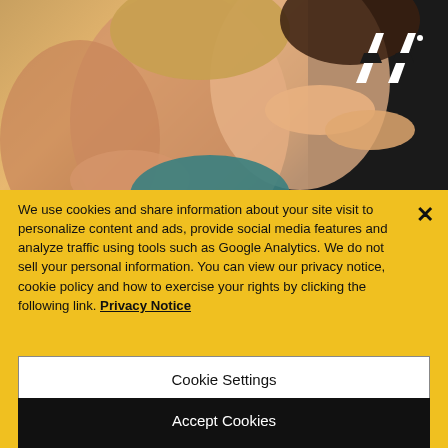[Figure (photo): People laughing together in a social setting, with the AA logo visible in the upper right corner on a dark background]
We use cookies and share information about your site visit to personalize content and ads, provide social media features and analyze traffic using tools such as Google Analytics. We do not sell your personal information. You can view our privacy notice, cookie policy and how to exercise your rights by clicking the following link. Privacy Notice
Cookie Settings
Reject All
Accept Cookies